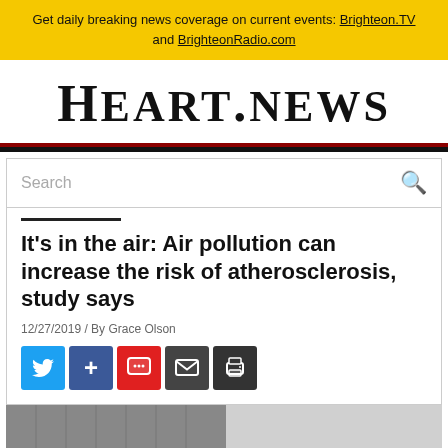Get daily breaking news coverage on current events: Brighteon.TV and BrighteonRadio.com
Heart.news
Search
It’s in the air: Air pollution can increase the risk of atherosclerosis, study says
12/27/2019 / By Grace Olson
[Figure (other): Social sharing buttons: Twitter, Facebook plus, comment/chat, email, print]
[Figure (photo): Partial grayscale photo of a building or industrial structure visible at the bottom edge]